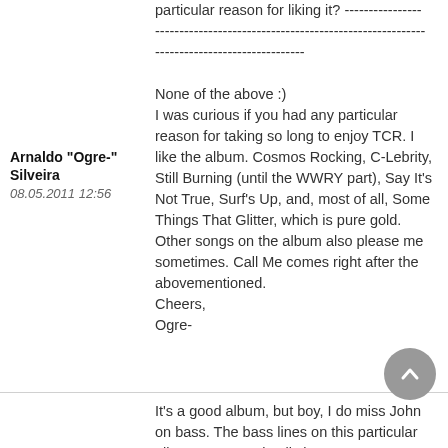particular reason for liking it? ------------------------------------------------------------------------------------------------
None of the above :)
I was curious if you had any particular reason for taking so long to enjoy TCR. I like the album. Cosmos Rocking, C-Lebrity, Still Burning (until the WWRY part), Say It's Not True, Surf's Up, and, most of all, Some Things That Glitter, which is pure gold. Other songs on the album also please me sometimes. Call Me comes right after the abovementioned.
Cheers,
Ogre-
Arnaldo "Ogre-" Silveira
08.05.2011 12:56
It's a good album, but boy, I do miss John on bass. The bass lines on this particular album are very simplistic.
But Sebastian, are you sure you're OK? You actually like a product by Qu...euh I mean Brian, Roger and Paul? That's
Rick
08.05.2011 14:14